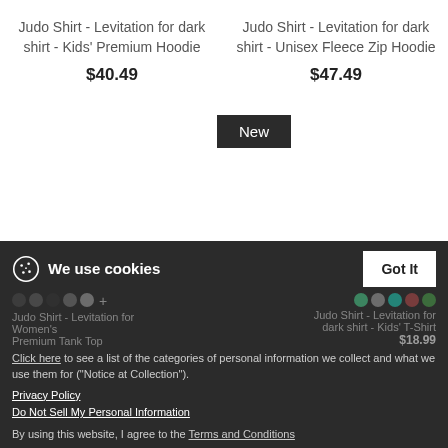Judo Shirt - Levitation for dark shirt - Kids' Premium Hoodie
$40.49
Judo Shirt - Levitation for dark shirt - Unisex Fleece Zip Hoodie
$47.49
New
We use cookies
Got It
Judo Shirt - Levitation for
Judo Shirt - Levitation for dark shirt - Kids' T-Shirt
Women's Premium Tank Top
$18.99
Click here to see a list of the categories of personal information we collect and what we use them for ("Notice at Collection").
Privacy Policy
Do Not Sell My Personal Information
By using this website, I agree to the Terms and Conditions